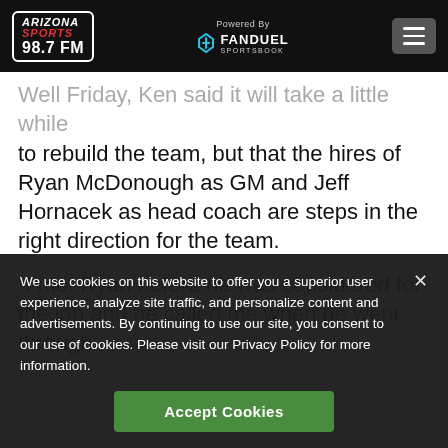Arizona Sports 98.7 FM | Powered By FanDuel Sportsbook
Well Friday, Ken said it will take a little while to rebuild the team, but that the hires of Ryan McDonough as GM and Jeff Hornacek as head coach are steps in the right direction for the team.
“I met Ryan before he was considered for the job and he called me when he went through
We use cookies on this website to offer you a superior user experience, analyze site traffic, and personalize content and advertisements. By continuing to use our site, you consent to our use of cookies. Please visit our Privacy Policy for more information.
Accept Cookies